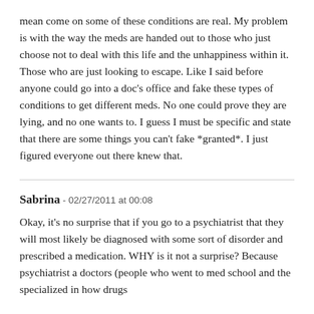mean come on some of these conditions are real. My problem is with the way the meds are handed out to those who just choose not to deal with this life and the unhappiness within it. Those who are just looking to escape. Like I said before anyone could go into a doc's office and fake these types of conditions to get different meds. No one could prove they are lying, and no one wants to. I guess I must be specific and state that there are some things you can't fake *granted*. I just figured everyone out there knew that.
Sabrina - 02/27/2011 at 00:08
Okay, it's no surprise that if you go to a psychiatrist that they will most likely be diagnosed with some sort of disorder and prescribed a medication. WHY is it not a surprise? Because psychiatrist a doctors (people who went to med school and the specialized in how drugs